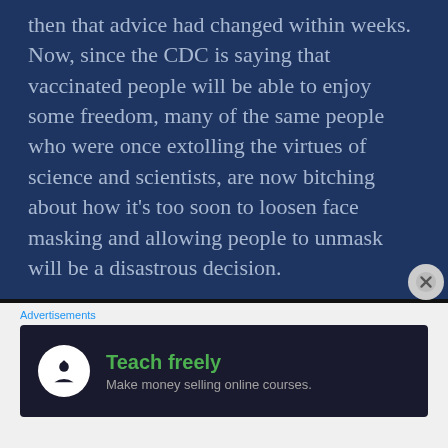then that advice had changed within weeks. Now, since the CDC is saying that vaccinated people will be able to enjoy some freedom, many of the same people who were once extolling the virtues of science and scientists, are now bitching about how it’s too soon to loosen face masking and allowing people to unmask will be a disastrous decision.

Quite a few people seem to think this rule relaxation was done purely
[Figure (other): Advertisement banner: Teach freely - Make money selling online courses. Dark background with white circular icon showing a person/upload symbol and green bold text.]